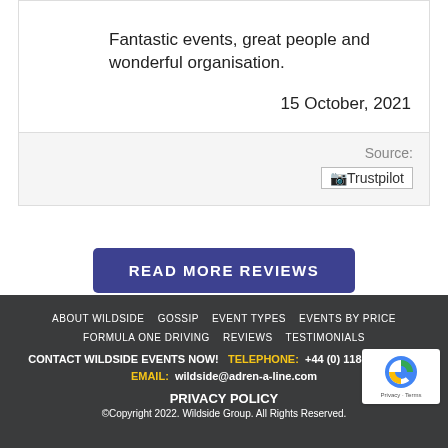s
Fantastic events, great people and wonderful organisation.
15 October, 2021
Source:
[Figure (logo): Trustpilot logo placeholder image]
READ MORE REVIEWS
ABOUT WILDSIDE   GOSSIP   EVENT TYPES   EVENTS BY PRICE   FORMULA ONE DRIVING   REVIEWS   TESTIMONIALS   CONTACT WILDSIDE EVENTS NOW!   TELEPHONE: +44 (0) 118 228 1167   EMAIL: wildside@adren-a-line.com   PRIVACY POLICY   ©Copyright 2022. Wildside Group. All Rights Reserved.